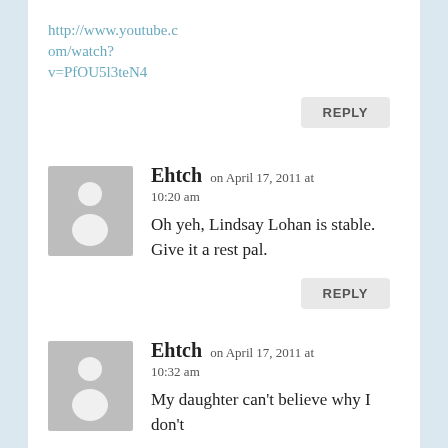http://www.youtube.com/watch?v=PfOU5l3teN4
REPLY
Ehtch on April 17, 2011 at 10:20 am
Oh yeh, Lindsay Lohan is stable. Give it a rest pal.
REPLY
Ehtch on April 17, 2011 at 10:32 am
My daughter can't believe why I don't